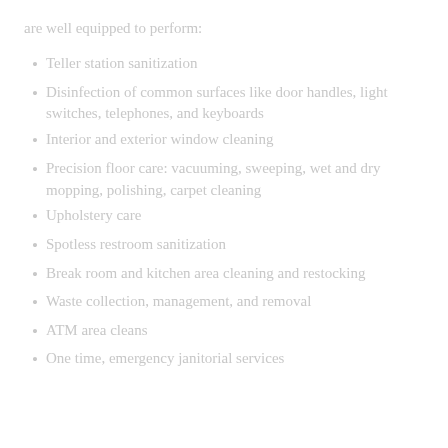are well equipped to perform:
Teller station sanitization
Disinfection of common surfaces like door handles, light switches, telephones, and keyboards
Interior and exterior window cleaning
Precision floor care: vacuuming, sweeping, wet and dry mopping, polishing, carpet cleaning
Upholstery care
Spotless restroom sanitization
Break room and kitchen area cleaning and restocking
Waste collection, management, and removal
ATM area cleans
One time, emergency janitorial services